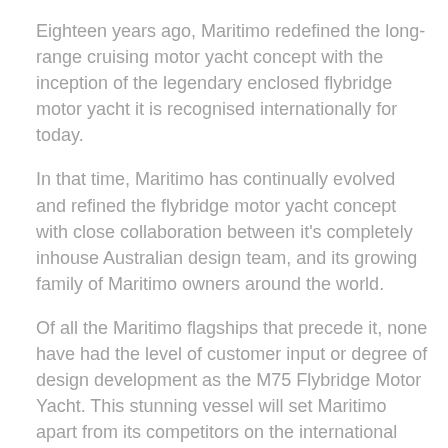Eighteen years ago, Maritimo redefined the long-range cruising motor yacht concept with the inception of the legendary enclosed flybridge motor yacht it is recognised internationally for today.
In that time, Maritimo has continually evolved and refined the flybridge motor yacht concept with close collaboration between it's completely inhouse Australian design team, and its growing family of Maritimo owners around the world.
Of all the Maritimo flagships that precede it, none have had the level of customer input or degree of design development as the M75 Flybridge Motor Yacht. This stunning vessel will set Maritimo apart from its competitors on the international stage.
Maritimo's Director of Design, Tom Barry- Cotter said "The all new M75 has stemmed from the most in-depth design